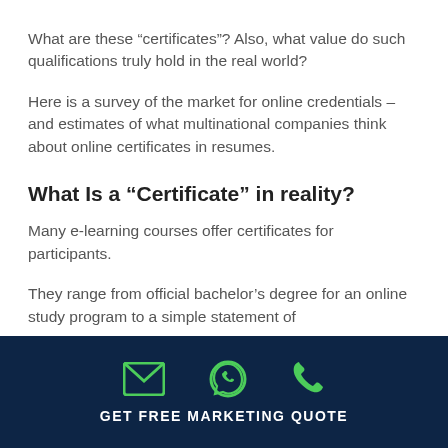What are these “certificates”? Also, what value do such qualifications truly hold in the real world?
Here is a survey of the market for online credentials – and estimates of what multinational companies think about online certificates in resumes.
What Is a “Certificate” in reality?
Many e-learning courses offer certificates for participants.
They range from official bachelor’s degree for an online study program to a simple statement of
GET FREE MARKETING QUOTE